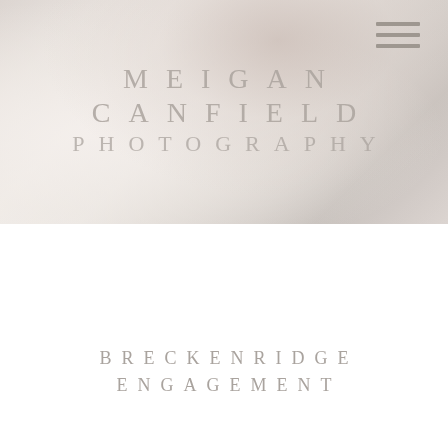[Figure (photo): A close-up photo of a bride's hand wearing diamond engagement rings, shown against a soft white wedding veil or dress fabric. The image has a light, airy, neutral tone with soft grays and warm whites. A hamburger menu icon appears in the upper right corner.]
MEIGAN CANFIELD PHOTOGRAPHY
BRECKENRIDGE ENGAGEMENT